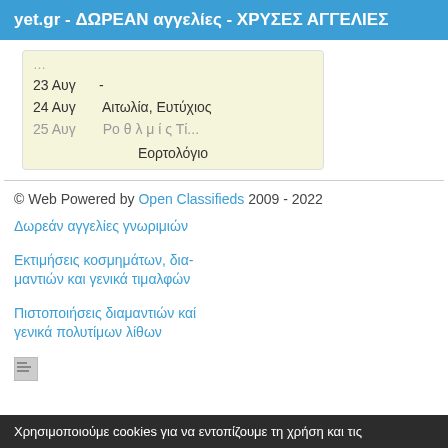yet.gr - ΔΩΡΕΑΝ αγγελίες - ΧΡΥΣΕΣ ΑΓΓΕΛΙΕΣ
| 23 Αυγ | - |
| 24 Αυγ | Αιτωλία, Ευτύχιος |
| 25 Αυγ | … |
Εορτολόγιο
© Web Powered by Open Classifieds 2009 - 2022
Δωρεάν αγγελίες γνωριμιών
Εκτιμήσεις κοσμημάτων, δια-μαντιών και γενικά τιμαλφών
Πιστοποιήσεις διαμαντιών καί γενικά πολυτίμων λίθων
[Figure (other): Small icon/image placeholder]
Χρησιμοποιούμε cookies για να εντοπίζουμε τη χρήση και τις